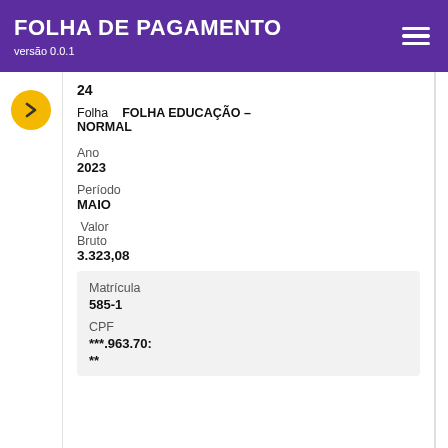FOLHA DE PAGAMENTO versão 0.0.1
24
Folha   FOLHA EDUCAÇÃO – NORMAL
Ano
2023
Período
MAIO
Valor Bruto
3.323,08
Matrícula
585-1
CPF
***.963.70:
**